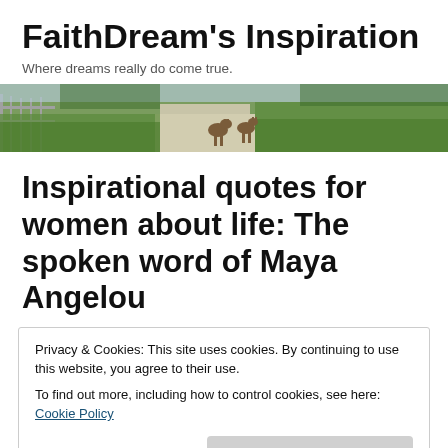FaithDream's Inspiration
Where dreams really do come true.
[Figure (photo): A banner photo showing a path with deer and green grass along a fence]
Inspirational quotes for women about life: The spoken word of Maya Angelou
Privacy & Cookies: This site uses cookies. By continuing to use this website, you agree to their use.
To find out more, including how to control cookies, see here: Cookie Policy
[Close and accept button]
love.  In life, there is no one like Maya Angelou. I'm encouraged